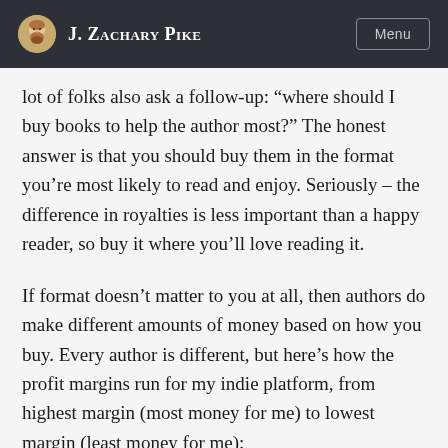J. Zachary Pike
lot of folks also ask a follow-up: “where should I buy books to help the author most?” The honest answer is that you should buy them in the format you’re most likely to read and enjoy. Seriously – the difference in royalties is less important than a happy reader, so buy it where you’ll love reading it.
If format doesn’t matter to you at all, then authors do make different amounts of money based on how you buy. Every author is different, but here’s how the profit margins run for my indie platform, from highest margin (most money for me) to lowest margin (least money for me):
1. Buy a signed book from me directly on my